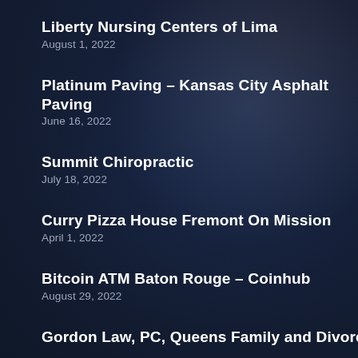Liberty Nursing Centers of Lima
August 1, 2022
Platinum Paving – Kansas City Asphalt Paving
June 16, 2022
Summit Chiropractic
July 18, 2022
Curry Pizza House Fremont On Mission
April 1, 2022
Bitcoin ATM Baton Rouge – Coinhub
August 29, 2022
Gordon Law, PC, Queens Family and Divorce